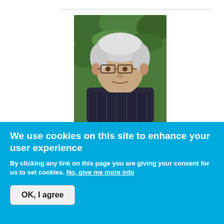[Figure (photo): Portrait photo of Roger Titcombe, an older man with white/grey hair and glasses, wearing a dark patterned shirt, outdoors with green foliage in background]
Roger Titcombe
Thu, 30/01/2014 - 16:10
Guest - The Wolf report dealt with that. The courses in question did not promote, "knowledge, practical skills, conceptual understanding, demands on communication skills, ability to...
We use cookies on this site to enhance your user experience
By clicking any link on this page you are giving your consent for us to set cookies. No, give me more info
OK, I agree